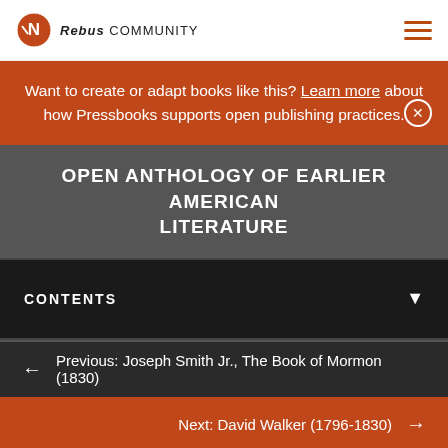Rebus COMMUNITY
Want to create or adapt books like this? Learn more about how Pressbooks supports open publishing practices.
OPEN ANTHOLOGY OF EARLIER AMERICAN LITERATURE
CONTENTS
Previous: Joseph Smith Jr., The Book of Mormon (1830)
Next: David Walker (1796-1830)